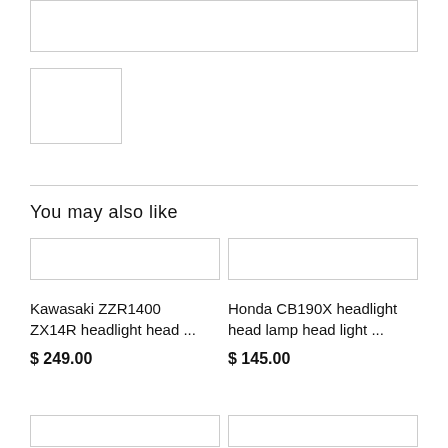[Figure (photo): Wide image placeholder at top of page]
[Figure (photo): Small square image placeholder]
You may also like
[Figure (photo): Product image placeholder for Kawasaki ZZR1400 ZX14R headlight]
Kawasaki ZZR1400 ZX14R headlight head ...
$ 249.00
[Figure (photo): Product image placeholder for Honda CB190X headlight]
Honda CB190X headlight head lamp head light ...
$ 145.00
[Figure (photo): Bottom left product image placeholder]
[Figure (photo): Bottom right product image placeholder]